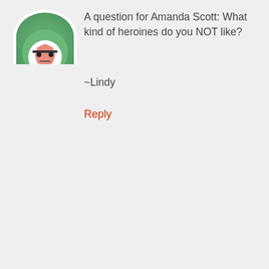[Figure (illustration): Circular avatar with green background showing a cartoon face with glasses (top portion cropped)]
A question for Amanda Scott: What kind of heroines do you NOT like?

~Lindy
Reply
[Figure (illustration): Circular avatar with green background showing a cartoon octagonal face with glasses looking tired or skeptical]
aromagik says July 5, 2010 at 2:39 pm
Another question: I make bath & body